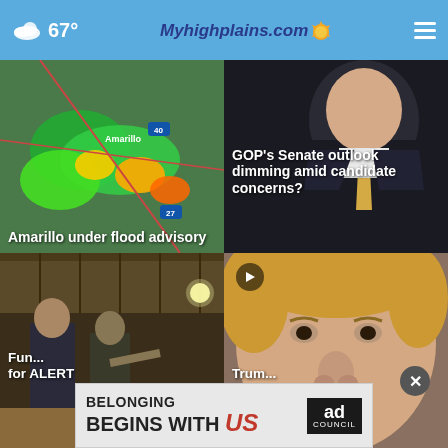67° Myhighplains.com
[Figure (screenshot): Weather radar map showing storm coverage near Amarillo, TX with green/yellow/red radar returns]
Amarillo under flood advisory
[Figure (photo): Photo of a man in a suit with gold tie speaking at a press conference]
GOP's Senate outlook dimming amid candidate concerns?
[Figure (photo): Photo of law enforcement officers in a building interior]
Fun... for ALERT
[Figure (photo): Photo of Donald Trump closeup portrait]
Trum...
[Figure (infographic): Ad banner: BELONGING BEGINS WITH US - Ad Council advertisement]